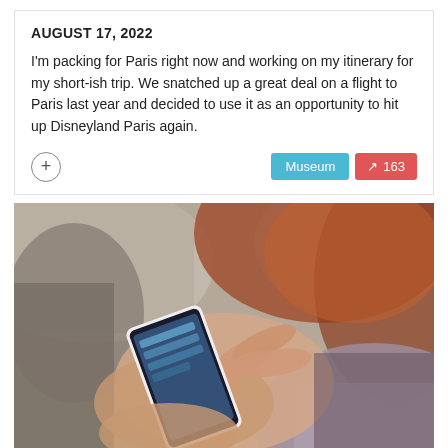AUGUST 17, 2022
I'm packing for Paris right now and working on my itinerary for my short-ish trip. We snatched up a great deal on a flight to Paris last year and decided to use it as an opportunity to hit up Disneyland Paris again.
[Figure (photo): Woman with red/auburn hair using a white smartphone, photographed from behind/side, shallow depth of field, blurred background]